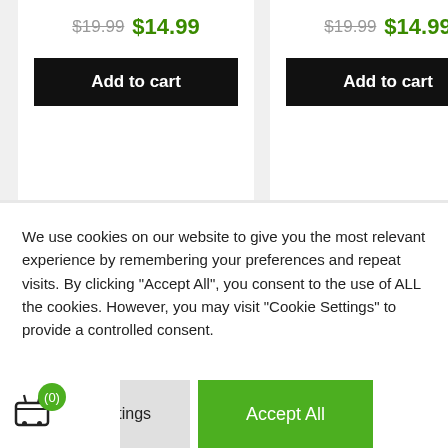$19.99  $14.99
Add to cart
$19.99  $14.99
Add to cart
We use cookies on our website to give you the most relevant experience by remembering your preferences and repeat visits. By clicking “Accept All”, you consent to the use of ALL the cookies. However, you may visit "Cookie Settings" to provide a controlled consent.
Cookie Settings
Accept All